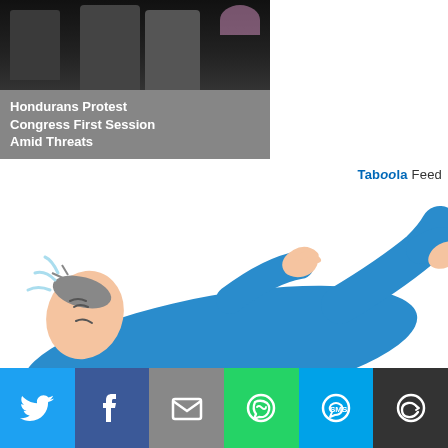[Figure (photo): News card with photo of protest scene. Overlay text reads: Hondurans Protest Congress First Session Amid Threats]
Hondurans Protest Congress First Session Amid Threats
Taboola Feed
[Figure (illustration): Cartoon illustration of a person in blue clothing lying on their back with legs raised, appearing dizzy or fallen, with motion lines near the head.]
[Figure (infographic): Social share bar with six buttons: Twitter (blue bird icon), Facebook (dark blue f icon), Email (gray envelope icon), WhatsApp (green phone icon), SMS (blue SMS icon), More (dark circle arrow icon)]